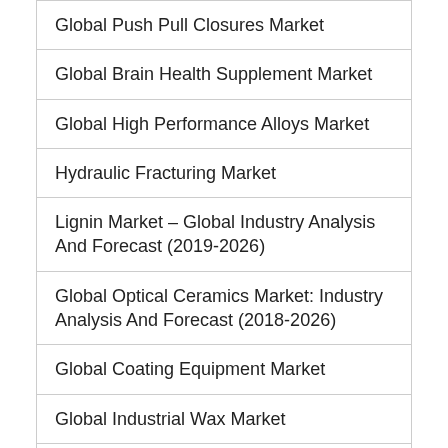Global Push Pull Closures Market
Global Brain Health Supplement Market
Global High Performance Alloys Market
Hydraulic Fracturing Market
Lignin Market – Global Industry Analysis And Forecast (2019-2026)
Global Optical Ceramics Market: Industry Analysis And Forecast (2018-2026)
Global Coating Equipment Market
Global Industrial Wax Market
Global Radiation Dose Management Market – Industry Analysis And Forecast